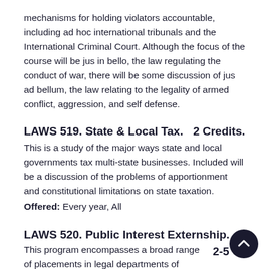mechanisms for holding violators accountable, including ad hoc international tribunals and the International Criminal Court. Although the focus of the course will be jus in bello, the law regulating the conduct of war, there will be some discussion of jus ad bellum, the law relating to the legality of armed conflict, aggression, and self defense.
LAWS 519. State & Local Tax.     2 Credits.
This is a study of the major ways state and local governments tax multi-state businesses. Included will be a discussion of the problems of apportionment and constitutional limitations on state taxation.
Offered: Every year, All
LAWS 520. Public Interest Externship.
This program encompasses a broad range of placements in legal departments of public agencies and private not-for-profit organizations. Past placements have included Attorney General's offices...